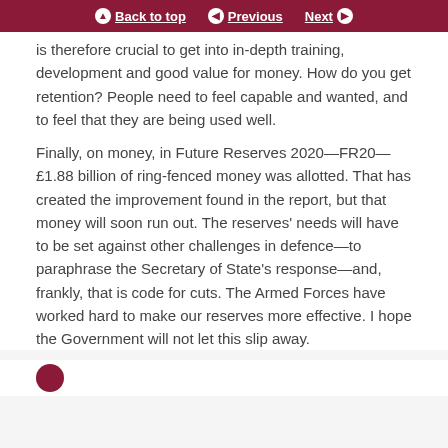Back to top | Previous | Next
is therefore crucial to get into in-depth training, development and good value for money. How do you get retention? People need to feel capable and wanted, and to feel that they are being used well.
Finally, on money, in Future Reserves 2020—FR20—£1.88 billion of ring-fenced money was allotted. That has created the improvement found in the report, but that money will soon run out. The reserves' needs will have to be set against other challenges in defence—to paraphrase the Secretary of State's response—and, frankly, that is code for cuts. The Armed Forces have worked hard to make our reserves more effective. I hope the Government will not let this slip away.